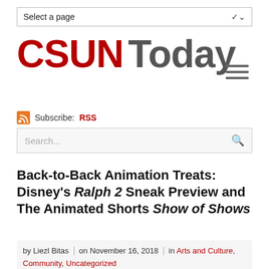Select a page
[Figure (logo): CSUN Today logo with red CSUN text and dark gray Today text]
Subscribe: RSS
Search...
Back-to-Back Animation Treats: Disney's Ralph 2 Sneak Preview and The Animated Shorts Show of Shows
by Liezl Bitas | on November 16, 2018 | in Arts and Culture, Community, Uncategorized